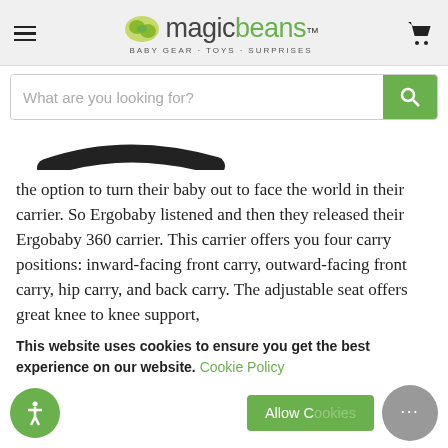[Figure (logo): Magic Beans logo with bean graphic and tagline BABY GEAR · TOYS · SURPRISES]
[Figure (screenshot): Search bar with placeholder 'What are you looking for?' and green search button]
[Figure (photo): Partial image of a baby carrier product in black]
the option to turn their baby out to face the world in their carrier. So Ergobaby listened and then they released their Ergobaby 360 carrier. This carrier offers you four carry positions: inward-facing front carry, outward-facing front carry, hip carry, and back carry. The adjustable seat offers great knee to knee support,
This website uses cookies to ensure you get the best experience on our website. Cookie Policy
[Figure (screenshot): Cookie consent bar with Allow Cookies button, accessibility icon, and chat bubble]
reaches 12 pounds, this carrier holds up to 33 pounds,